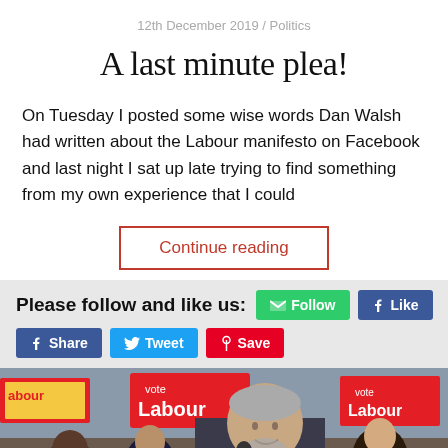12th December 2019 / Politics
A last minute plea!
On Tuesday I posted some wise words Dan Walsh had written about the Labour manifesto on Facebook and last night I sat up late trying to find something from my own experience that I could
Continue reading
Please follow and like us: Follow Like Share Tweet Save
[Figure (photo): Photo of Jeremy Corbyn speaking at a Labour rally, surrounded by supporters holding red and yellow 'Vote Labour' signs]